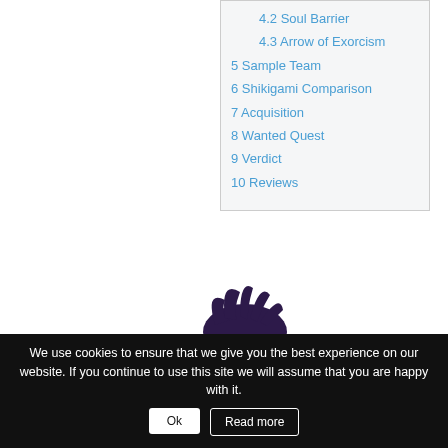4.2 Soul Barrier
4.3 Arrow of Exorcism
5 Sample Team
6 Shikigami Comparison
7 Acquisition
8 Wanted Quest
9 Verdict
10 Reviews
[Figure (illustration): Anime character with dark purple hair and white bow, partial upper body view]
We use cookies to ensure that we give you the best experience on our website. If you continue to use this site we will assume that you are happy with it.
Ok
Read more